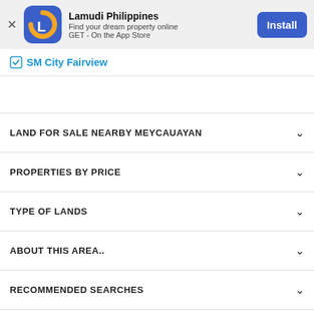[Figure (screenshot): Lamudi Philippines app install banner with app icon, name, description and Install button]
SM City Fairview
LAND FOR SALE NEARBY MEYCAUAYAN
PROPERTIES BY PRICE
TYPE OF LANDS
ABOUT THIS AREA..
RECOMMENDED SEARCHES
RELATED SEARCHES